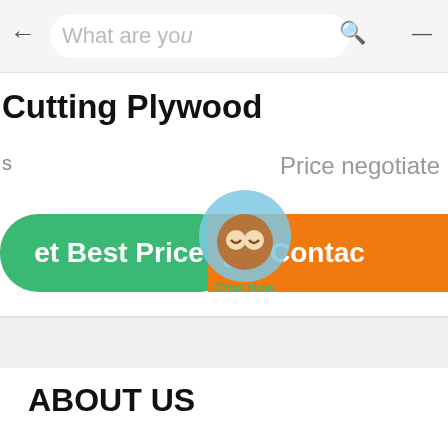What are you
Cutting Plywood
Price negotiate
Get Best Price
Contact
[Figure (illustration): Chat Now button overlay with owl mascot avatar]
ABOUT US